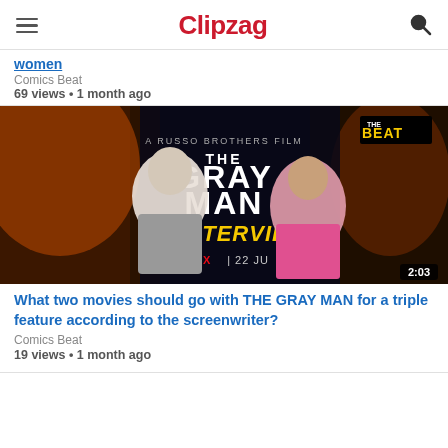Clipzag
women
Comics Beat
69 views • 1 month ago
[Figure (screenshot): Thumbnail for The Gray Man Interview video on Netflix. Shows 'A RUSSO BROTHERS FILM - THE GRAY MAN INTERVIEW!' with Netflix branding and '22 JU...' date. A man in a gray suit and a woman in a colorful outfit are pictured. The Beat logo visible top right. Duration badge shows 2:03.]
What two movies should go with THE GRAY MAN for a triple feature according to the screenwriter?
Comics Beat
19 views • 1 month ago